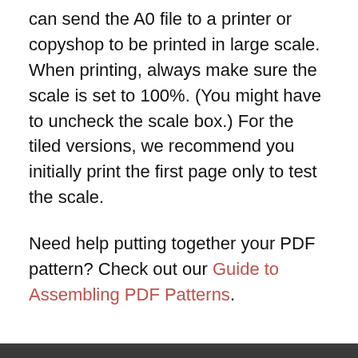can send the A0 file to a printer or copyshop to be printed in large scale. When printing, always make sure the scale is set to 100%. (You might have to uncheck the scale box.) For the tiled versions, we recommend you initially print the first page only to test the scale.
Need help putting together your PDF pattern? Check out our Guide to Assembling PDF Patterns.
ABOUT US
Press
Checklist